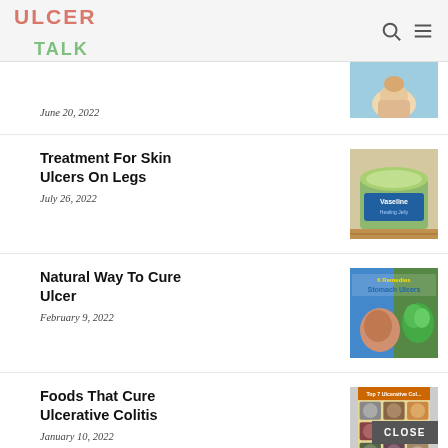ULCER TALK
June 20, 2022
[Figure (photo): Photo of ankle/leg with ulcer on blue background]
Treatment For Skin Ulcers On Legs
July 26, 2022
[Figure (photo): Photo of Vaseline jar on wooden surface]
Natural Way To Cure Ulcer
February 9, 2022
[Figure (photo): Composite image showing stomach ulcers remedies with text 'Stomach Ulcers']
Foods That Cure Ulcerative Colitis
January 10, 2022
[Figure (photo): Top 7 Ulcerative Colitis foods infographic with food images in grid]